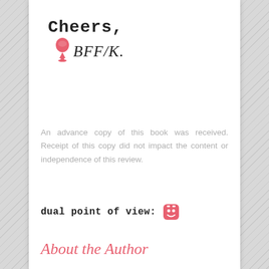[Figure (illustration): Handwritten signature area with 'Cheers,' text in handwritten font, a red wine glass icon, and handwritten signature 'BFF/K.']
An advance copy of this book was received. Receipt of this copy did not impact the content or independence of this review.
dual point of view: [dog face emoji]
About the Author